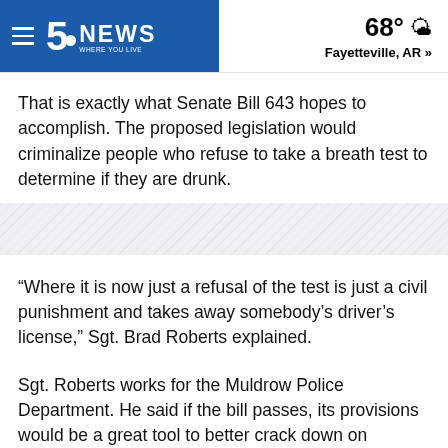5 News WHERE YOU LIVE | 68° Fayetteville, AR »
That is exactly what Senate Bill 643 hopes to accomplish. The proposed legislation would criminalize people who refuse to take a breath test to determine if they are drunk.
[Figure (other): Diagonal hatched decorative divider band]
“Where it is now just a refusal of the test is just a civil punishment and takes away somebody’s driver’s license,” Sgt. Brad Roberts explained.
Sgt. Roberts works for the Muldrow Police Department. He said if the bill passes, its provisions would be a great tool to better crack down on impaired driving.
“It will allow us to get actual tests and evidence to show in court for habitual offenders that will be aided in the court